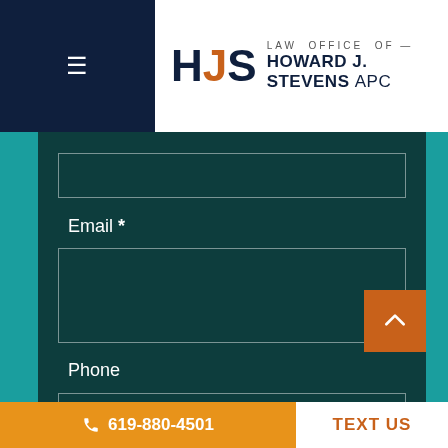[Figure (logo): Law Office of Howard J. Stevens APC logo with HJS initials in dark navy and orange]
Email *
Phone
Message
619-880-4501
TEXT US